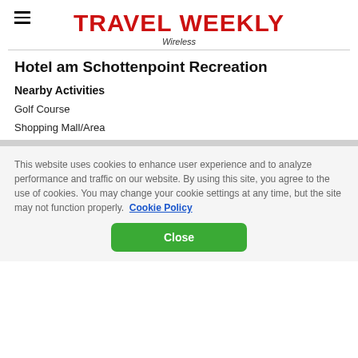TRAVEL WEEKLY
Wireless
Hotel am Schottenpoint Recreation
Nearby Activities
Golf Course
Shopping Mall/Area
This website uses cookies to enhance user experience and to analyze performance and traffic on our website. By using this site, you agree to the use of cookies. You may change your cookie settings at any time, but the site may not function properly.  Cookie Policy
Close